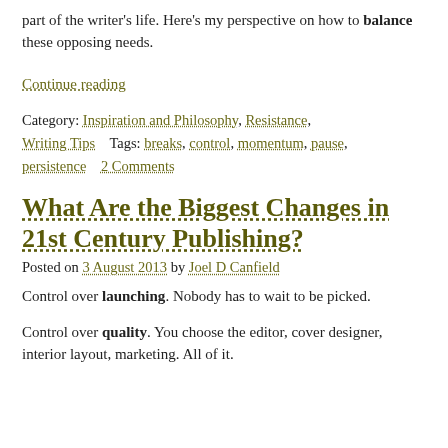part of the writer's life. Here's my perspective on how to balance these opposing needs.
Continue reading
Category: Inspiration and Philosophy, Resistance, Writing Tips    Tags: breaks, control, momentum, pause, persistence    2 Comments
What Are the Biggest Changes in 21st Century Publishing?
Posted on 3 August 2013 by Joel D Canfield
Control over launching. Nobody has to wait to be picked.
Control over quality. You choose the editor, cover designer, interior layout, marketing. All of it.